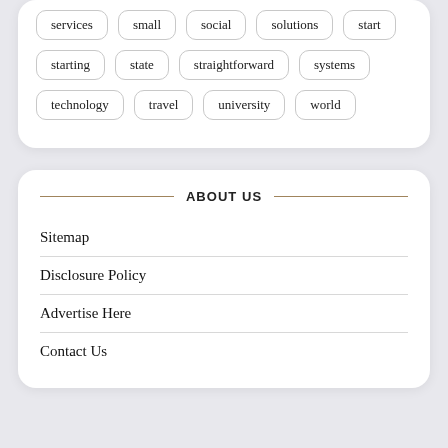services
small
social
solutions
start
starting
state
straightforward
systems
technology
travel
university
world
ABOUT US
Sitemap
Disclosure Policy
Advertise Here
Contact Us